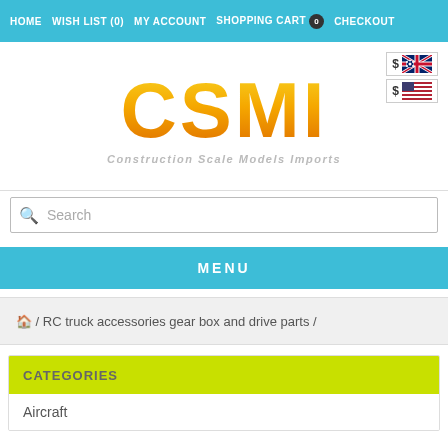HOME  WISH LIST (0)  MY ACCOUNT  SHOPPING CART 0  CHECKOUT
[Figure (logo): CSMI logo with orange gradient lettering, subtitle 'Construction Scale Models Imports', and Australian/US flag currency selectors]
Search
MENU
🏠 / RC truck accessories gear box and drive parts /
CATEGORIES
Aircraft